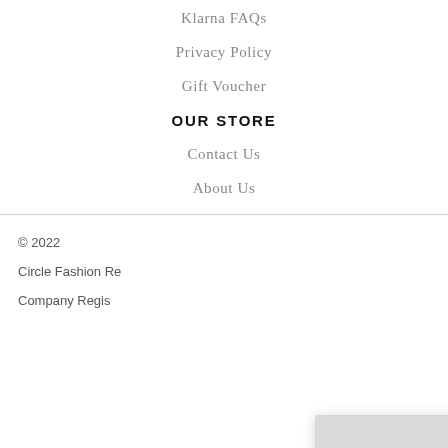Klarna FAQs
Privacy Policy
Gift Voucher
OUR STORE
Contact Us
About Us
© 2022
Circle Fashion Re
Company Regis
This site uses cookies to provide and improve your shopping experience. If you want to benefit from this improved service, please opt-in. Cookies Page.
I opt-in to a better browsing experience
ACCEPT COOKIES